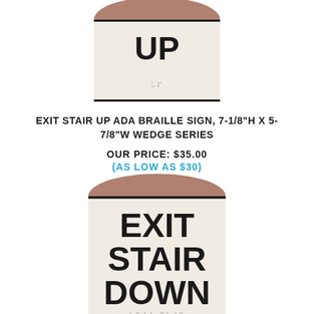[Figure (photo): ADA Braille sign showing text 'UP' with braille below, wedge-shaped with rounded top, cream colored face and mauve/rose colored rounded top edge — partially cropped at top of page]
EXIT STAIR UP ADA BRAILLE SIGN, 7-1/8"H X 5-7/8"W WEDGE SERIES
OUR PRICE: $35.00
(AS LOW AS $30)
[Figure (photo): ADA Braille sign showing text 'EXIT STAIR DOWN' with braille below, wedge-shaped with rounded top, cream colored face and mauve/rose colored rounded top edge — partially cropped at bottom of page]